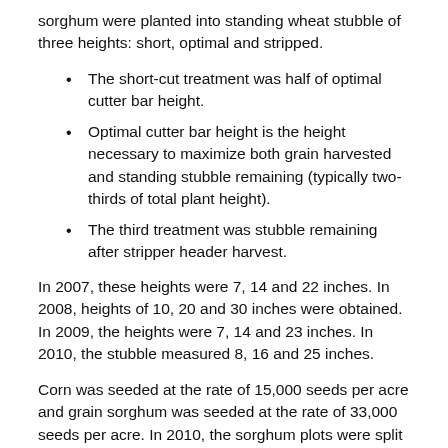sorghum were planted into standing wheat stubble of three heights: short, optimal and stripped.
The short-cut treatment was half of optimal cutter bar height.
Optimal cutter bar height is the height necessary to maximize both grain harvested and standing stubble remaining (typically two-thirds of total plant height).
The third treatment was stubble remaining after stripper header harvest.
In 2007, these heights were 7, 14 and 22 inches. In 2008, heights of 10, 20 and 30 inches were obtained. In 2009, the heights were 7, 14 and 23 inches. In 2010, the stubble measured 8, 16 and 25 inches.
Corn was seeded at the rate of 15,000 seeds per acre and grain sorghum was seeded at the rate of 33,000 seeds per acre. In 2010, the sorghum plots were split and an additional seeding rate of 41,000 seeds per acre was added to the study.
Nitrogen was applied to all plots at a rate of 80 to 100 pounds per